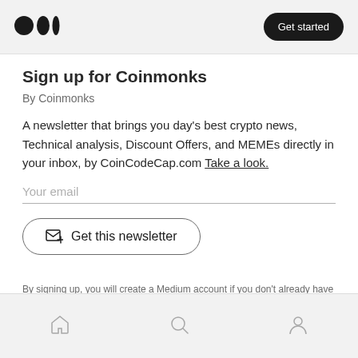Medium logo | Get started
Sign up for Coinmonks
By Coinmonks
A newsletter that brings you day's best crypto news, Technical analysis, Discount Offers, and MEMEs directly in your inbox, by CoinCodeCap.com Take a look.
Your email
[Figure (other): Get this newsletter button with envelope-plus icon]
By signing up, you will create a Medium account if you don't already have one. Review our Privacy Policy for more information about our privacy practices.
Home, Search, Profile navigation icons